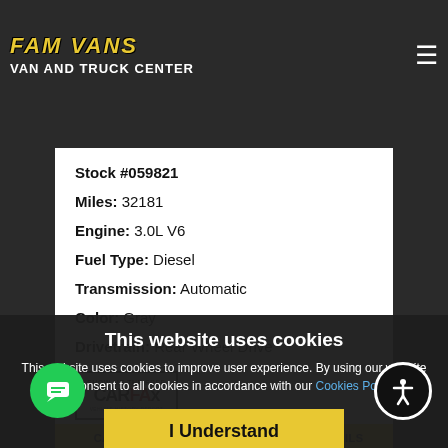[Figure (logo): FAM VANS Van and Truck Center logo with yellow stylized text on dark background]
Sprinter 2500 High Roof Cargo — Mission Valley, CA
Stock #059821
Miles: 32181
Engine: 3.0L V6
Fuel Type: Diesel
Transmission: Automatic
Color: Gray
Drivetrain: Rear Wheel Drive
[Figure (logo): CARFAX Show Me The Free Vehicle History Report badge]
CALL | TEXT | DETAILS
This website uses cookies
This website uses cookies to improve user experience. By using our website you consent to all cookies in accordance with our Cookies Policy.
I Understand